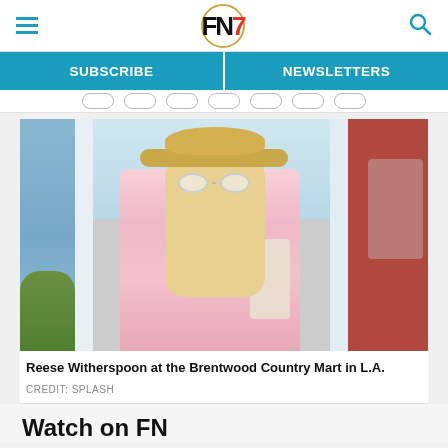FN7 — Footwear News header with hamburger menu and search icon
SUBSCRIBE | NEWSLETTERS
[Figure (photo): Reese Witherspoon wearing a straw wide-brim hat, white sunglasses, and a pink gingham shirt, photographed outdoors at the Brentwood Country Mart in L.A.]
Reese Witherspoon at the Brentwood Country Mart in L.A.
CREDIT: SPLASH
Watch on FN